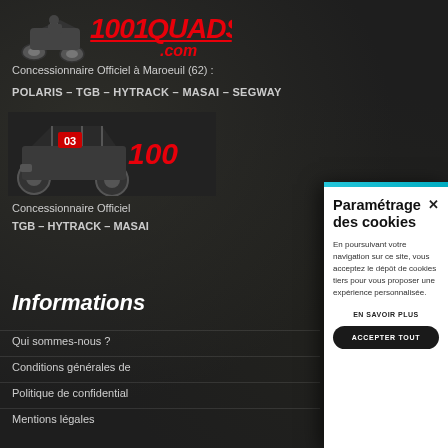[Figure (logo): 1001 Quads .com logo in red and white on dark background]
Concessionnaire Officiel à Maroeuil (62) :
POLARIS – TGB – HYTRACK – MASAI – SEGWAY
[Figure (logo): 1001 Quads vehicle photo with logo showing quad/UTV]
Concessionnaire Officiel
TGB – HYTRACK – MASAI
Informations
Qui sommes-nous ?
Conditions générales de
Politique de confidential
Mentions légales
Paramétrage des cookies
En poursuivant votre navigation sur ce site, vous acceptez le dépôt de cookies tiers pour vous proposer une expérience personnalisée.
EN SAVOIR PLUS
ACCEPTER TOUT